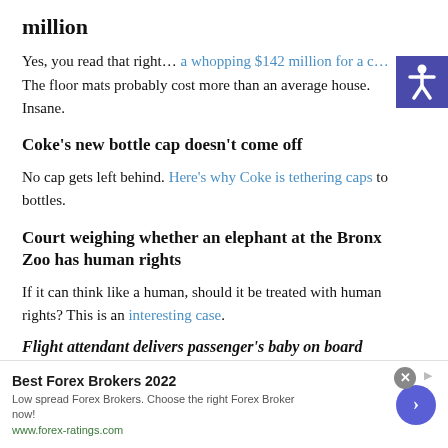million
Yes, you read that right… a whopping $142 million for a c… The floor mats probably cost more than an average house. Insane.
Coke's new bottle cap doesn't come off
No cap gets left behind. Here's why Coke is tethering caps to bottles.
Court weighing whether an elephant at the Bronx Zoo has human rights
If it can think like a human, should it be treated with human rights? This is an interesting case.
Flight attendant delivers passenger's baby on board
Best Forex Brokers 2022 Low spread Forex Brokers. Choose the right Forex Broker now! www.forex-ratings.com